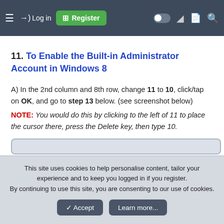≡  →) Log in  ⊞ Register  (toggle) ☾ 🗋 🔍
11. To Enable the Built-in Administrator Account in Windows 8
A) In the 2nd column and 8th row, change 11 to 10, click/tap on OK, and go to step 13 below. (see screenshot below)
NOTE: You would do this by clicking to the left of 11 to place the cursor there, press the Delete key, then type 10.
[Figure (screenshot): Partially visible screenshot box]
This site uses cookies to help personalise content, tailor your experience and to keep you logged in if you register. By continuing to use this site, you are consenting to our use of cookies.